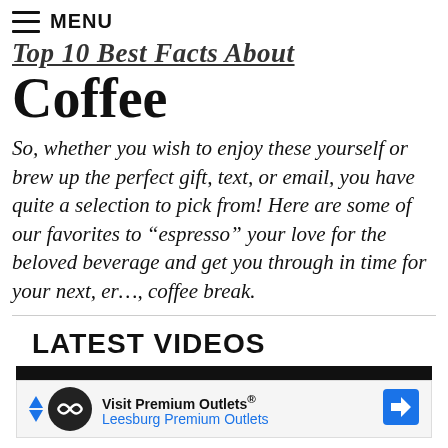MENU
Top 10 Best Facts About Coffee
So, whether you wish to enjoy these yourself or brew up the perfect gift, text, or email, you have quite a selection to pick from! Here are some of our favorites to “espresso” your love for the beloved beverage and get you through in time for your next, er…, coffee break.
LATEST VIDEOS
[Figure (other): Advertisement banner: Visit Premium Outlets® Leesburg Premium Outlets, with logo and navigation arrow icon]